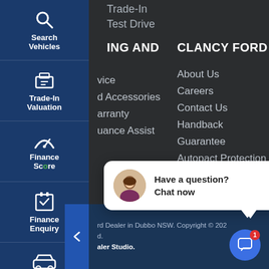[Figure (screenshot): Left sidebar navigation with blue background showing icons and labels: Search Vehicles, Trade-In Valuation, Finance Score, Finance Enquiry, Test Drive, Click To Buy]
Trade-In
Test Drive
ING AND
CLANCY FORD
vice
d Accessories
arranty
uance Assist
About Us
Careers
Contact Us
Handback Guarantee
Autopact Protection Plan
Privacy Policy
Terms And Conditions
Have a question? Chat now
rd Dealer in Dubbo NSW. Copyright © 202... d. aler Studio.